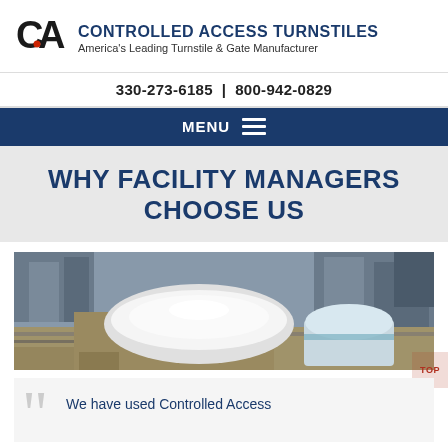[Figure (logo): CA logo mark — stylized letters C and A with a red dot accent]
CONTROLLED ACCESS TURNSTILES
America's Leading Turnstile & Gate Manufacturer
330-273-6185  |  800-942-0829
MENU
WHY FACILITY MANAGERS CHOOSE US
[Figure (photo): Aerial photograph of a large domed stadium (resembling the Mercedes-Benz Superdome) and a smaller adjacent arena surrounded by urban cityscape and infrastructure]
We have used Controlled Access